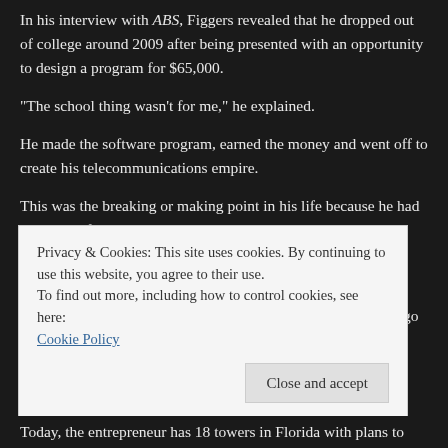In his interview with ABS, Figgers revealed that he dropped out of college around 2009 after being presented with an opportunity to design a program for $65,000.
“The school thing wasn’t for me,” he explained.
He made the software program, earned the money and went off to create his telecommunications empire.
This was the breaking or making point in his life because he had his share of doubters.
“I was told no my whole life. The only person who believed in me was my father. No one believes you until they see a check. And that’s the story of my life … If you believe in something go for it.”
Privacy & Cookies: This site uses cookies. By continuing to use this website, you agree to their use.
To find out more, including how to control cookies, see here: Cookie Policy
Today, the entrepreneur has 18 towers in Florida with plans to